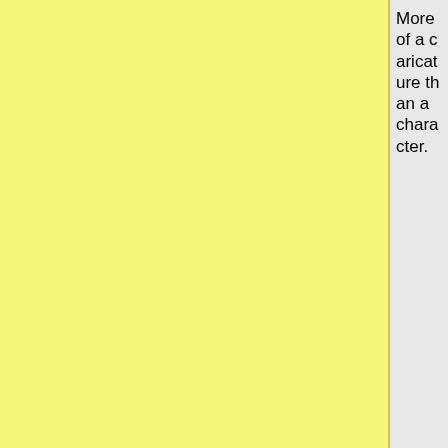[Figure (other): Yellow panel on left side of page, gray panel on right, with a vertical divider between them]
More of a caricature than a character.